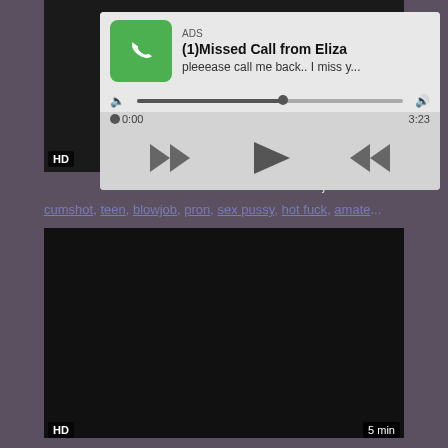[Figure (screenshot): Audio ad player overlay showing missed call notification with phone icon, progress bar, and playback controls]
Seductive Girl Is Cumshot Teen Blowjob
cumshot, teen, blowjob, pron, sex pussy, hot fuck, amate...
[Figure (screenshot): Dark video thumbnail for a second video]